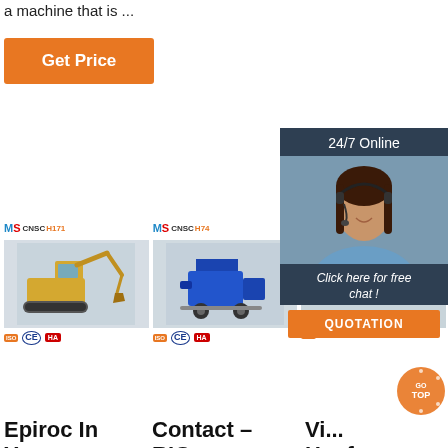a machine that is ...
Get Price
[Figure (screenshot): 24/7 Online chat widget with agent photo, 'Click here for free chat!' label, and orange QUOTATION button]
[Figure (photo): Yellow mini excavator machine product image with CNSC H171 logo and CE/HA certifications]
[Figure (photo): Blue concrete pump/mixer machine product image with CNSC H74 logo and CE/HA certifications]
[Figure (photo): Third product image (partially visible) with certifications]
Epiroc In Your Region | Epiroc
Fax: 206-888-6383
Contact – RIG MANUFACTURING
2017-1-24 · For the application in soil
Vi... Hanfa GROUP
Well Cleanout Equipment ; Energy